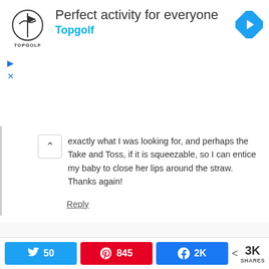[Figure (screenshot): Topgolf advertisement banner with logo, title 'Perfect activity for everyone', brand name 'Topgolf', navigation arrow icon, and ad controls]
exactly what I was looking for, and perhaps the Take and Toss, if it is squeezable, so I can entice my baby to close her lips around the straw. Thanks again!
Reply
[Figure (illustration): Pixelated avatar icon for user Ania]
Ania says
June 26, 2015 at 10:21 am
Hi, The take and toss cups do not have bendable straws, so how did that work since you mentioned that
[Figure (infographic): Social share bar with Twitter (50), Pinterest (845), Facebook (2K) buttons and 3K total shares]